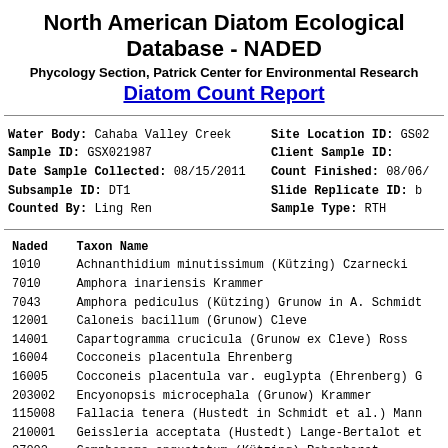North American Diatom Ecological Database - NADED
Phycology Section, Patrick Center for Environmental Research
Diatom Count Report
| Field | Value | Field | Value |
| --- | --- | --- | --- |
| Water Body: | Cahaba Valley Creek | Site Location ID: | GS0... |
| Sample ID: | GSX021987 | Client Sample ID: |  |
| Date Sample Collected: | 08/15/2011 | Count Finished: | 08/06/... |
| Subsample ID: | DT1 | Slide Replicate ID: | b... |
| Counted By: | Ling Ren | Sample Type: | RTH |
| Naded | Taxon Name |
| --- | --- |
| 1010 | Achnanthidium minutissimum (Kützing) Czarnecki |
| 7010 | Amphora inariensis Krammer |
| 7043 | Amphora pediculus (Kützing) Grunow in A. Schmidt |
| 12001 | Caloneis bacillum (Grunow) Cleve |
| 14001 | Capartogramma crucicula (Grunow ex Cleve) Ross |
| 16004 | Cocconeis placentula Ehrenberg |
| 16005 | Cocconeis placentula var. euglypta (Ehrenberg) G... |
| 203002 | Encyonopsis microcephala (Grunow) Krammer |
| 115008 | Fallacia tenera (Hustedt in Schmidt et al.) Mann... |
| 210001 | Geissleria acceptata (Hustedt) Lange-Bertalot et... |
| 37002 | Gomphonema angustatum (Kützing) Rabenhorst |